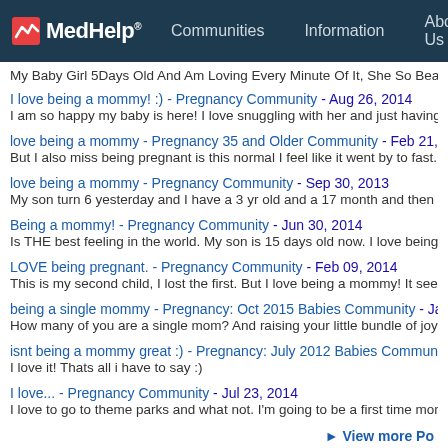MedHelp | Communities | Information | About Us
My Baby Girl 5Days Old And Am Loving Every Minute Of It, She So Beautif...
I love being a mommy! :) - Pregnancy Community - Aug 26, 2014
I am so happy my baby is here! I love snuggling with her and just having he...
love being a mommy - Pregnancy 35 and Older Community - Feb 21, 2015
But I also miss being pregnant is this normal I feel like it went by to fast.
love being a mommy - Pregnancy Community - Sep 30, 2013
My son turn 6 yesterday and I have a 3 yr old and a 17 month and then and...
Being a mommy! - Pregnancy Community - Jun 30, 2014
Is THE best feeling in the world. My son is 15 days old now. I love being the...
LOVE being pregnant. - Pregnancy Community - Feb 09, 2014
This is my second child, I lost the first. But I love being a mommy! It seems...
being a single mommy - Pregnancy: Oct 2015 Babies Community - Jan 25,...
How many of you are a single mom? And raising your little bundle of joy by...
isnt being a mommy great :) - Pregnancy: July 2012 Babies Community - A...
I love it! Thats all i have to say :)
I love... - Pregnancy Community - Jul 23, 2014
I love to go to theme parks and what not. I'm going to be a first time momm...
► View more Po...